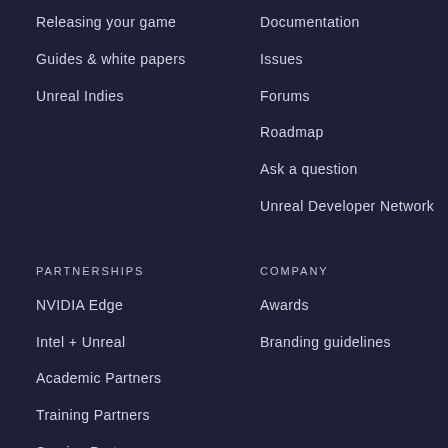Releasing your game
Documentation
Guides & white papers
Issues
Unreal Indies
Forums
Roadmap
Ask a question
Unreal Developer Network
PARTNERSHIPS
COMPANY
NVIDIA Edge
Awards
Intel + Unreal
Branding guidelines
Academic Partners
Training Partners
Service Partners